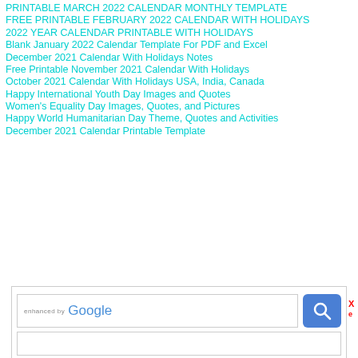PRINTABLE MARCH 2022 CALENDAR MONTHLY TEMPLATE
FREE PRINTABLE FEBRUARY 2022 CALENDAR WITH HOLIDAYS
2022 YEAR CALENDAR PRINTABLE WITH HOLIDAYS
Blank January 2022 Calendar Template For PDF and Excel
December 2021 Calendar With Holidays Notes
Free Printable November 2021 Calendar With Holidays
October 2021 Calendar With Holidays USA, India, Canada
Happy International Youth Day Images and Quotes
Women's Equality Day Images, Quotes, and Pictures
Happy World Humanitarian Day Theme, Quotes and Activities
December 2021 Calendar Printable Template
[Figure (screenshot): Google search box with 'ENHANCED BY Google' text and a blue search button with magnifying glass icon]